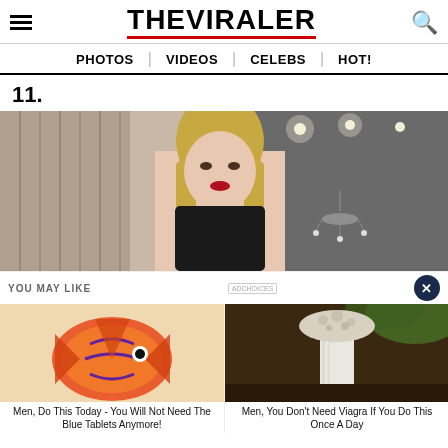THE VIRALER
PHOTOS | VIDEOS | CELEBS | HOT!
11.
[Figure (photo): Young blonde woman with long hair and red lipstick looking at camera, standing in a luxury room with chandelier and recessed lighting in background]
YOU MAY LIKE
[Figure (photo): Close-up of colorful tropical fish with orange, red and blue patterns]
Men, Do This Today - You Will Not Need The Blue Tablets Anymore!
[Figure (photo): White mushroom growing from dark soil among green plants]
Men, You Don't Need Viagra If You Do This Once A Day